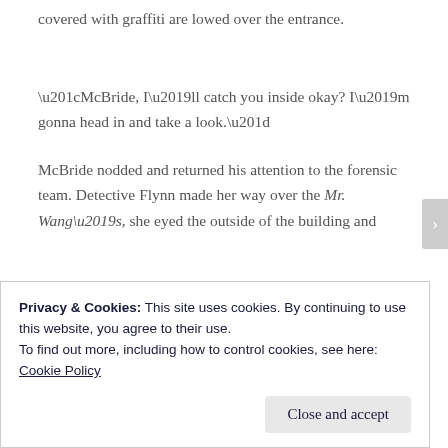covered with graffiti are lowed over the entrance.
“McBride, I’ll catch you inside okay? I’m gonna head in and take a look.”
McBride nodded and returned his attention to the forensic team. Detective Flynn made her way over the Mr. Wang’s, she eyed the outside of the building and
Privacy & Cookies: This site uses cookies. By continuing to use this website, you agree to their use.
To find out more, including how to control cookies, see here:
Cookie Policy
Close and accept